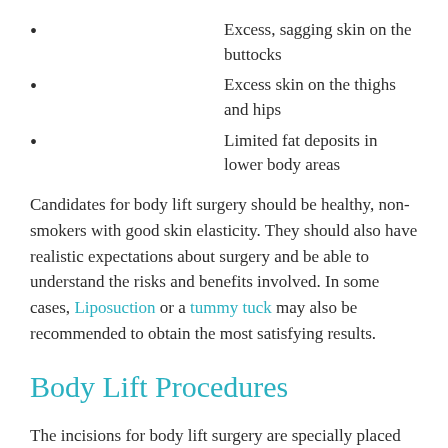Excess, sagging skin on the buttocks
Excess skin on the thighs and hips
Limited fat deposits in lower body areas
Candidates for body lift surgery should be healthy, non-smokers with good skin elasticity. They should also have realistic expectations about surgery and be able to understand the risks and benefits involved. In some cases, Liposuction or a tummy tuck may also be recommended to obtain the most satisfying results.
Body Lift Procedures
The incisions for body lift surgery are specially placed in natural body folds, in locations that allow clothing to easily cover your scars. Skin and tissue below the incisions is removed and lifted as needed. Dissolvable sutures are placed,